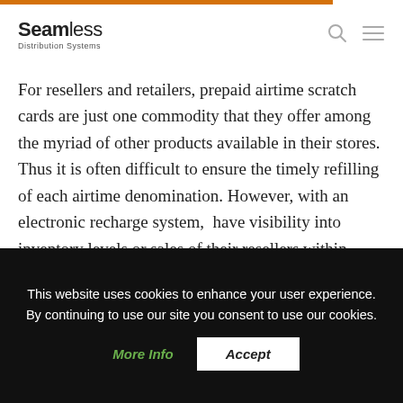Seamless Distribution Systems
For resellers and retailers, prepaid airtime scratch cards are just one commodity that they offer among the myriad of other products available in their stores. Thus it is often difficult to ensure the timely refilling of each airtime denomination. However, with an electronic recharge system,  have visibility into inventory levels or sales of their resellers within specific regions. Due to this, the bottlenecks in the restocking process are reduced substantially allowing to manage
This website uses cookies to enhance your user experience. By continuing to use our site you consent to use our cookies.
More Info
Accept